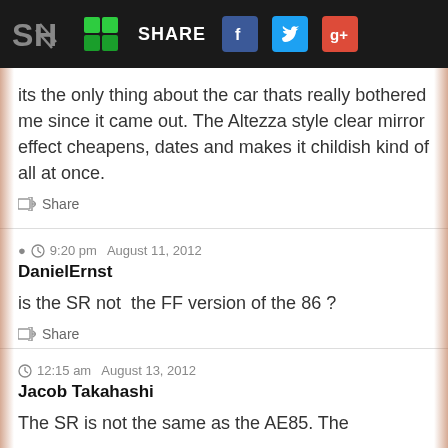SH SHARE [Facebook] [Twitter] [Google+]
its the only thing about the car thats really bothered me since it came out. The Altezza style clear mirror effect cheapens, dates and makes it childish kind of all at once.
Share
9:20 pm  August 11, 2012
DanielErnst
is the SR not  the FF version of the 86 ?
Share
12:15 am  August 13, 2012
Jacob Takahashi
The SR is not the same as the AE85. The